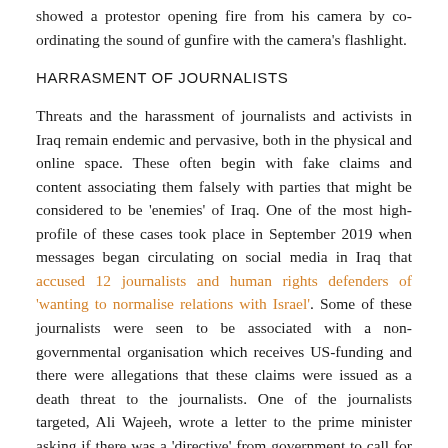showed a protestor opening fire from his camera by co-ordinating the sound of gunfire with the camera's flashlight.
HARRASMENT OF JOURNALISTS
Threats and the harassment of journalists and activists in Iraq remain endemic and pervasive, both in the physical and online space. These often begin with fake claims and content associating them falsely with parties that might be considered to be 'enemies' of Iraq. One of the most high-profile of these cases took place in September 2019 when messages began circulating on social media in Iraq that accused 12 journalists and human rights defenders of 'wanting to normalise relations with Israel'. Some of these journalists were seen to be associated with a non-governmental organisation which receives US-funding and there were allegations that these claims were issued as a death threat to the journalists. One of the journalists targeted, Ali Wajeeh, wrote a letter to the prime minister asking if there was a 'directive' from government to call for the death of the journalists. It is